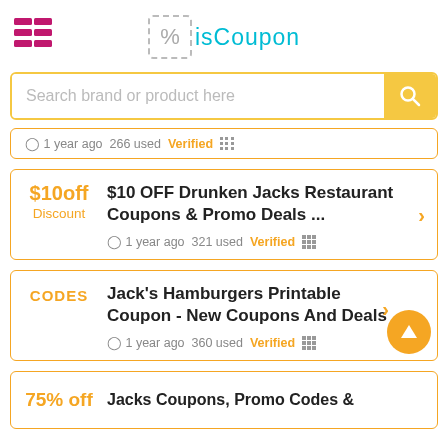isCoupon
Search brand or product here
1 year ago  266 used  Verified
$10off Discount - $10 OFF Drunken Jacks Restaurant Coupons & Promo Deals ... - 1 year ago  321 used  Verified
CODES - Jack's Hamburgers Printable Coupon - New Coupons And Deals - 1 year ago  360 used  Verified
75% off - Jacks Coupons, Promo Codes &